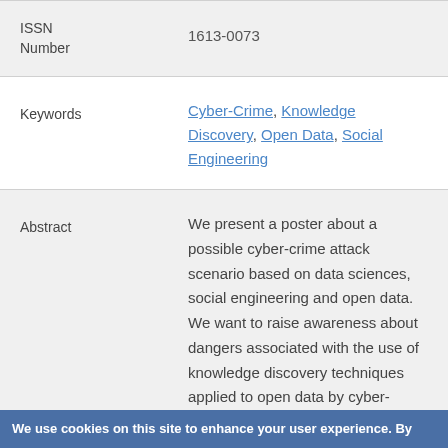| ISSN Number | 1613-0073 |
| Keywords | Cyber-Crime, Knowledge Discovery, Open Data, Social Engineering |
| Abstract | We present a poster about a possible cyber-crime attack scenario based on data sciences, social engineering and open data. We want to raise awareness about dangers associated with the use of knowledge discovery techniques applied to open data by cyber- |
We use cookies on this site to enhance your user experience. By